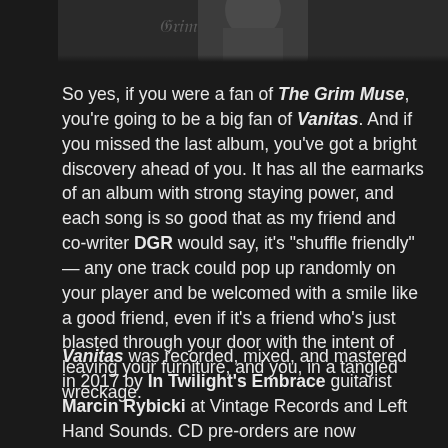[Figure (photo): Black and white photo strip showing partial view of a person, cropped at top of page]
So yes, if you were a fan of The Grim Muse, you're going to be a big fan of Vanitas. And if you missed the last album, you've got a bright discovery ahead of you. It has all the earmarks of an album with strong staying power, and each song is so good that as my friend and co-writer DGR would say, it's "shuffle friendly" — any one track could pop up randomly on your player and be welcomed with a smile like a good friend, even if it's a friend who's just blasted through your door with the intent of leaving your furniture, and you, in a tangled wreckage.
Vanitas was recorded, mixed, and mastered in 2017 by In Twilight's Embrace guitarist Marcin Rybicki at Vintage Records and Left Hand Sounds. CD pre-orders are now available through Arachnophobia Records. We're told that LP